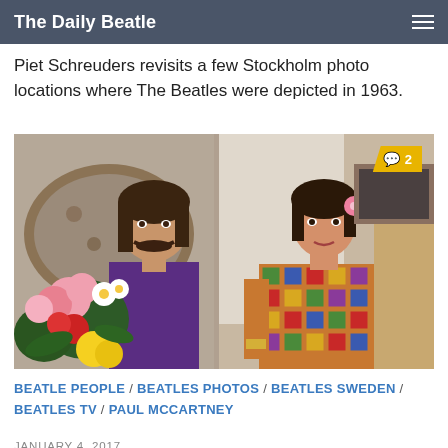The Daily Beatle
Piet Schreuders revisits a few Stockholm photo locations where The Beatles were depicted in 1963.
[Figure (photo): Photograph of two Beatles members (George Harrison and Paul McCartney) sitting in a room with flowers in the foreground. Paul McCartney wears a colorful crocheted vest and has a pink flower in his hair. George Harrison wears a purple shirt and has a mustache. A comment badge showing '2' appears in the upper right corner of the image.]
BEATLE PEOPLE / BEATLES PHOTOS / BEATLES SWEDEN / BEATLES TV / PAUL MCCARTNEY
JANUARY 4, 2017